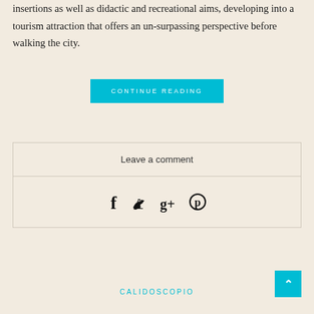insertions as well as didactic and recreational aims, developing into a tourism attraction that offers an un-surpassing perspective before walking the city.
CONTINUE READING
Leave a comment
[Figure (other): Social media share icons: Facebook (f), Twitter (bird), Google+ (g+), Pinterest (p)]
CALIDOSCOPIO